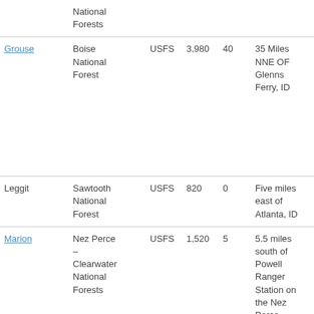| Name | Forest/District | Agency | Acres | Campsites | Location | Phone |
| --- | --- | --- | --- | --- | --- | --- |
|  | National Forests |  |  |  |  |  |
| Grouse | Boise National Forest | USFS | 3,980 | 40 | 35 Miles NNE OF Glenns Ferry, ID | 208-37 4105 |
| Leggit | Sawtooth National Forest | USFS | 820 | 0 | Five miles east of Atlanta, ID |  |
| Marion | Nez Perce – Clearwater National Forests | USFS | 1,520 | 5 | 5.5 miles south of Powell Ranger Station on the Nez Perce-Clearwater | 208-70 2389 |